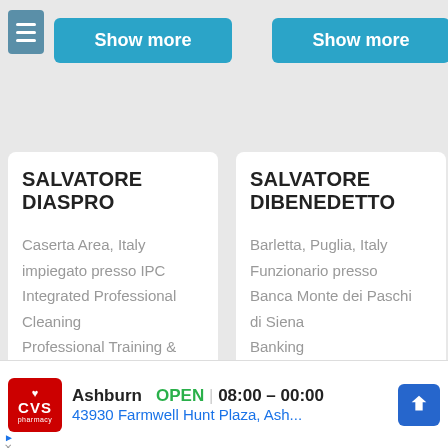[Figure (screenshot): Show more button (left card, with hamburger icon)]
[Figure (screenshot): Show more button (right card)]
SALVATORE DIASPRO
Caserta Area, Italy
impiegato presso IPC Integrated Professional Cleaning
Professional Training &
SALVATORE DIBENEDETTO
Barletta, Puglia, Italy
Funzionario presso Banca Monte dei Paschi di Siena
Banking
[Figure (screenshot): CVS Pharmacy ad: Ashburn OPEN 08:00 – 00:00, 43930 Farmwell Hunt Plaza, Ash...]